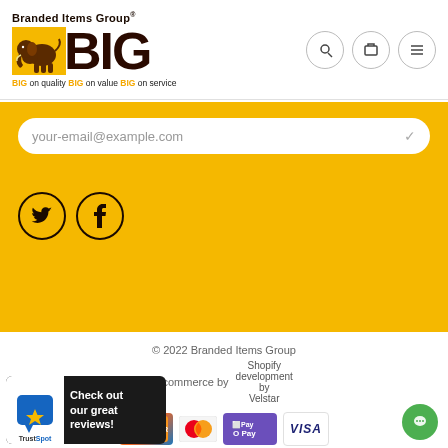[Figure (logo): Branded Items Group BIG logo with elephant graphic, yellow square background, tagline 'BIG on quality BIG on value BIG on service']
[Figure (screenshot): Email input field with placeholder 'your-email@example.com' on yellow background]
[Figure (screenshot): Social media icons: Twitter and Facebook circular buttons]
© 2022 Branded Items Group
Ecommerce by Shopify development by Velstar
[Figure (screenshot): Payment icons: Discover, Mastercard, Apple Pay, Visa]
[Figure (screenshot): TrustSpot badge with 'Check out our great reviews!' text]